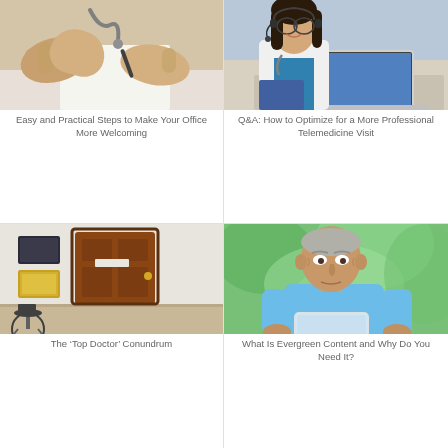[Figure (photo): Close-up of a doctor's hands on a desk with a stethoscope, writing on paper]
Easy and Practical Steps to Make Your Office More Welcoming
[Figure (photo): Female doctor with stethoscope wearing headset, smiling, working on laptop]
Q&A: How to Optimize for a More Professional Telemedicine Visit
[Figure (photo): Medical office interior with a wooden door and framed certificates on the wall]
The 'Top Doctor' Conundrum
[Figure (photo): Elderly man in light blue shirt outdoors, looking at a tablet]
What Is Evergreen Content and Why Do You Need It?